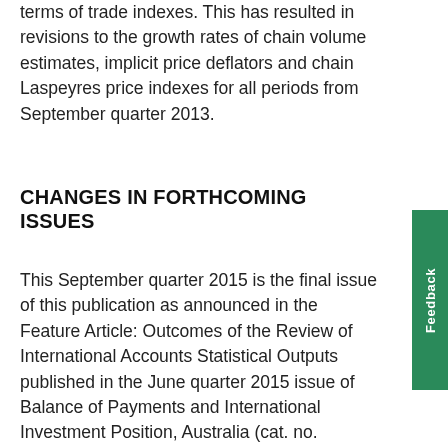terms of trade indexes. This has resulted in revisions to the growth rates of chain volume estimates, implicit price deflators and chain Laspeyres price indexes for all periods from September quarter 2013.
CHANGES IN FORTHCOMING ISSUES
This September quarter 2015 is the final issue of this publication as announced in the Feature Article: Outcomes of the Review of International Accounts Statistical Outputs published in the June quarter 2015 issue of Balance of Payments and International Investment Position, Australia (cat. no. 5302.0) released on 1 September